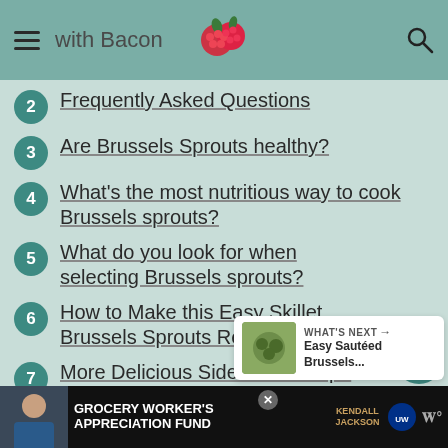with Bacon
2 Frequently Asked Questions
3 Are Brussels Sprouts healthy?
4 What's the most nutritious way to cook Brussels sprouts?
5 What do you look for when selecting Brussels sprouts?
6 How to Make this Easy Skillet Brussels Sprouts Recipe
7 More Delicious Side Dish Recipe
8 Brussels Sprouts with Bacon, Shallots and
[Figure (infographic): What's Next card showing Easy Sautéed Brussels... recipe thumbnail]
[Figure (infographic): Ad banner: GROCERY WORKER'S APPRECIATION FUND with Kendall-Jackson and United Way logos]